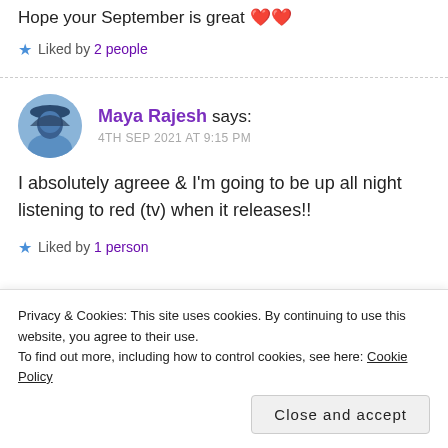Hope your September is great ❤️❤️
★ Liked by 2 people
Maya Rajesh says: 4TH SEP 2021 AT 9:15 PM
I absolutely agreee & I'm going to be up all night listening to red (tv) when it releases!!
★ Liked by 1 person
Privacy & Cookies: This site uses cookies. By continuing to use this website, you agree to their use. To find out more, including how to control cookies, see here: Cookie Policy
Close and accept